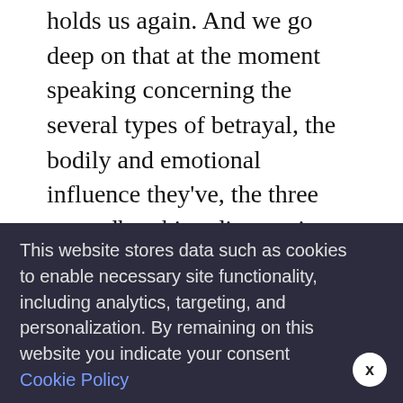holds us again. And we go deep on that at the moment speaking concerning the several types of betrayal, the bodily and emotional influence they've, the three groundbreaking discoveries she made whereas learning this, what post-traumatic stress is versus post-traumatic progress and her system for transferring into therapeutic after experiencing a betrayal. Heaps and plenty of fascinating and engaging data on this one. I do know you'll be taught lots. So, let's be part of Dr.
We use cookies on our website to give you the most relevant experience by remembering your preferences and repeat visits. By clicking "Accept All", you consent to the use of ALL the cookies. However, you may visit "Cookie Settings" to provide a controlled consent.
This website stores data such as cookies to enable necessary site functionality, including analytics, targeting, and personalization. By remaining on this website you indicate your consent Cookie Policy